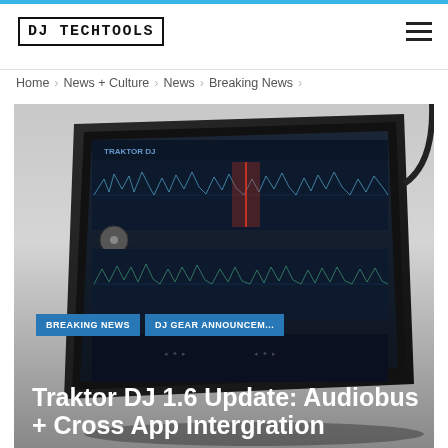DJ TechTools
Home > News + Culture > News > Breaking News >
[Figure (photo): A tablet device displaying the Traktor DJ app interface, showing waveforms and a DJ mixing interface, photographed on a dark background]
BREAKING NEWS  DJ GEAR ANNOUNCEM...
Traktor DJ 1.6 Update: Audiobus + Cross App Intergration